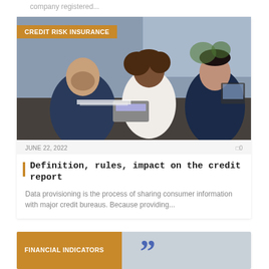company registered...
[Figure (photo): Three people at a desk in a business setting: a bearded man in a dark suit, a woman with curly hair in a white blouse, and an Asian man in a dark suit facing them. A calculator is visible on the desk. Photo has an orange banner overlay reading CREDIT RISK INSURANCE.]
JUNE 22, 2022
0
Definition, rules, impact on the credit report
Data provisioning is the process of sharing consumer information with major credit bureaus. Because providing...
[Figure (photo): Partial image of a financial indicators card with an orange banner reading FINANCIAL INDICATORS and a blue graphic element visible.]